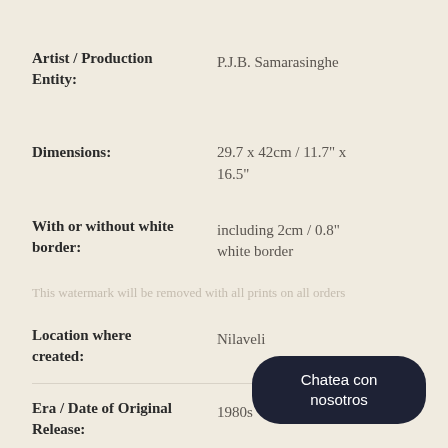Artist / Production Entity:
P.J.B. Samarasinghe
Dimensions:
29.7 x 42cm / 11.7" x 16.5"
With or without white border:
including 2cm / 0.8" white border
Location where created:
Nilaveli
Era / Date of Original Release:
1980s